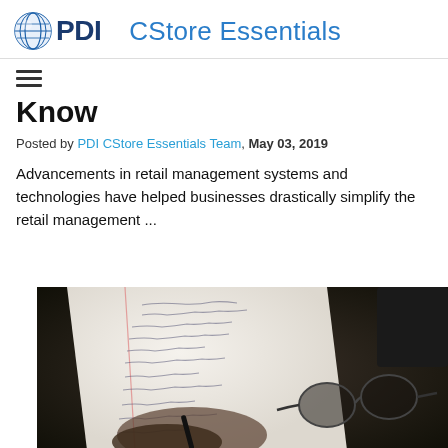PDI  CStore Essentials
Know
Posted by PDI CStore Essentials Team, May 03, 2019
Advancements in retail management systems and technologies have helped businesses drastically simplify the retail management ...
[Figure (photo): A photograph of a person writing in a notebook with a pen, with a pair of glasses resting on the notebook, on a dark background]